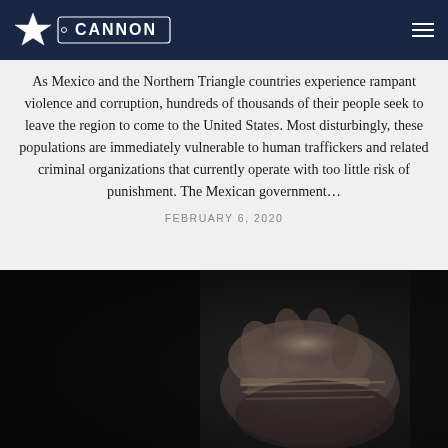The Cannon
As Mexico and the Northern Triangle countries experience rampant violence and corruption, hundreds of thousands of their people seek to leave the region to come to the United States. Most disturbingly, these populations are immediately vulnerable to human traffickers and related criminal organizations that currently operate with too little risk of punishment. The Mexican government...
FEBRUARY 6, 2020
[Figure (photo): Black and white photo of hands bound together with rope, shown against a dark background, symbolizing human trafficking.]